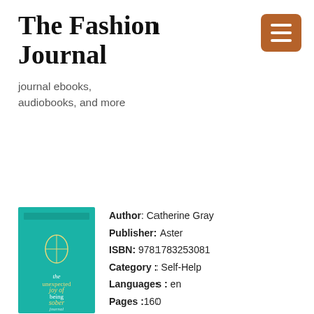The Fashion Journal
journal ebooks, audiobooks, and more
[Figure (illustration): Book cover for 'The Unexpected Joy of Being Sober Journal' by Catherine Gray. Teal/turquoise background with a birdcage illustration in yellow and white text.]
Author: Catherine Gray
Publisher: Aster
ISBN: 9781783253081
Category : Self-Help
Languages : en
Pages : 160
Get Books
Book Description
A guided sobriety journal for motivation, with prompts and reminders for Dry January, Sober Spring and beyond. Whether you are going cold turkey or trying your sober-curious hand at Dry